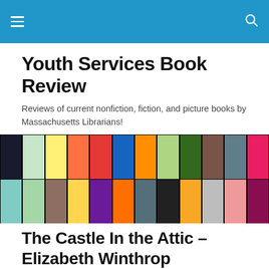Navigation bar with hamburger menu and search icon
Youth Services Book Review
Reviews of current nonfiction, fiction, and picture books by Massachusetts Librarians!
[Figure (photo): A collage banner of colorful children's and young adult book covers arranged in two rows]
The Castle In the Attic – Elizabeth Winthrop
Posted by kyurenka